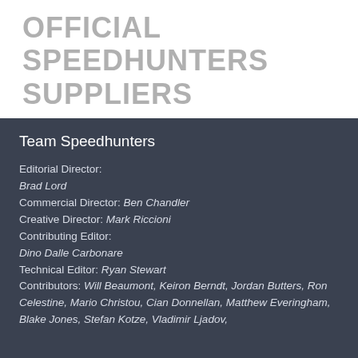OFFICIAL SPEEDHUNTERS SUPPLIERS
Team Speedhunters
Editorial Director:
Brad Lord
Commercial Director: Ben Chandler
Creative Director: Mark Riccioni
Contributing Editor:
Dino Dalle Carbonare
Technical Editor: Ryan Stewart
Contributors: Will Beaumont, Keiron Berndt, Jordan Butters, Ron Celestine, Mario Christou, Cian Donnellan, Matthew Everingham, Blake Jones, Stefan Kotze, Vladimir Ljadov,